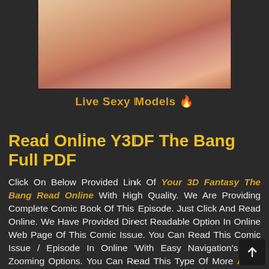[Figure (photo): Cropped close-up photo with skin tones, partially visible at top of page]
Live Sexy Models 🔥
Read Online Y3DF The Bang Full PDF
Click On Below Provided Link Of Your 3D Fantasy The Bang Read Online With High Quality. We Are Providing Complete Comic Book Of This Episode. Just Click And Read Online. We Have Provided Direct Readable Option In Online Web Page Of This Comic Issue. You Can Read This Comic Issue / Episode In Online With Easy Navigation's And Zooming Options. You Can Read This Type Of More Adult Comics In Our Web Site.